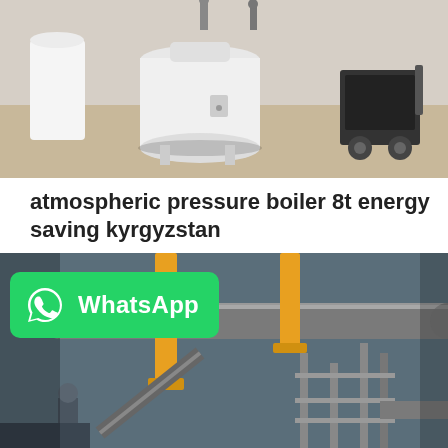[Figure (photo): Industrial boiler equipment on a factory floor — a white cylindrical boiler unit and a black wheeled cart/machine in an industrial warehouse setting]
atmospheric pressure boiler 8t energy saving kyrgyzstan
Agent 10 Ton Coal Atmospheric Pressure Boiler Uzbekistan. Energy Saving Agent 4t Coal Fired Boiler Machine Agent 10t Natural Gas Atmospheric Pressure Boiler Lithuania. 4T 6T 10T Heavy Oil Fired Steam Boiler. 4T 6T 8T 15T Used coal fired steam…
Get Price
[Figure (photo): Industrial construction scene with large pipes, cranes with yellow hydraulic arms, scaffolding and workers in an industrial facility]